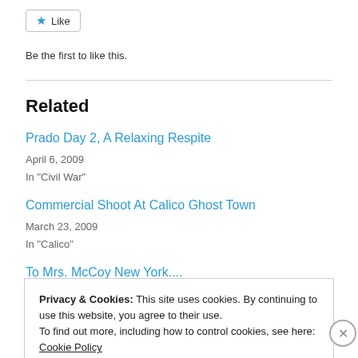[Figure (other): Like button with star icon]
Be the first to like this.
Related
Prado Day 2, A Relaxing Respite
April 6, 2009
In "Civil War"
Commercial Shoot At Calico Ghost Town
March 23, 2009
In "Calico"
To Mrs. McCoy New York....
Privacy & Cookies: This site uses cookies. By continuing to use this website, you agree to their use.
To find out more, including how to control cookies, see here: Cookie Policy